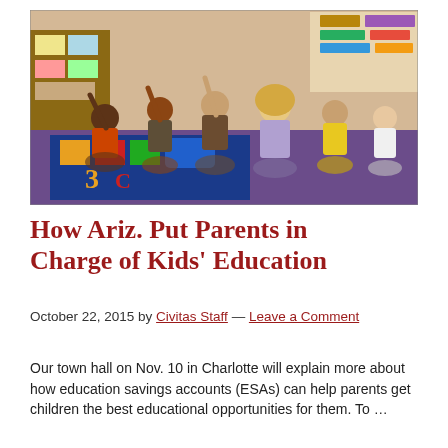[Figure (photo): Classroom photo showing children sitting on a colorful rug raising their hands, with a teacher and bookshelves in the background.]
How Ariz. Put Parents in Charge of Kids' Education
October 22, 2015 by Civitas Staff — Leave a Comment
Our town hall on Nov. 10 in Charlotte will explain more about how education savings accounts (ESAs) can help parents get children the best educational opportunities for them. To …